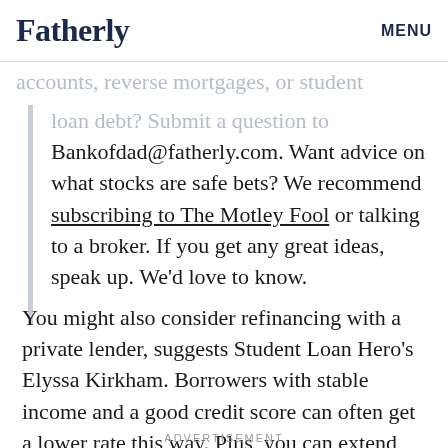Fatherly  MENU
accounts, reverse mortgages, or student loan debt? Submit a question to Bankofdad@fatherly.com. Want advice on what stocks are safe bets? We recommend subscribing to The Motley Fool or talking to a broker. If you get any great ideas, speak up. We'd love to know.
You might also consider refinancing with a private lender, suggests Student Loan Hero's Elyssa Kirkham. Borrowers with stable income and a good credit score can often get a lower rate this way. Plus, you can extend the length of time over which you pay it back.
ADVERTISEMENT